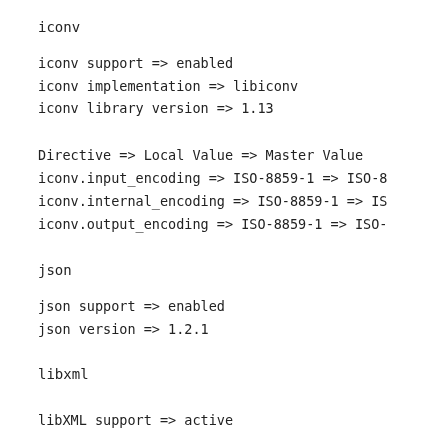iconv
iconv support => enabled
iconv implementation => libiconv
iconv library version => 1.13
Directive => Local Value => Master Value
iconv.input_encoding => ISO-8859-1 => ISO-8
iconv.internal_encoding => ISO-8859-1 => IS
iconv.output_encoding => ISO-8859-1 => ISO-
json
json support => enabled
json version => 1.2.1
libxml
libXML support => active